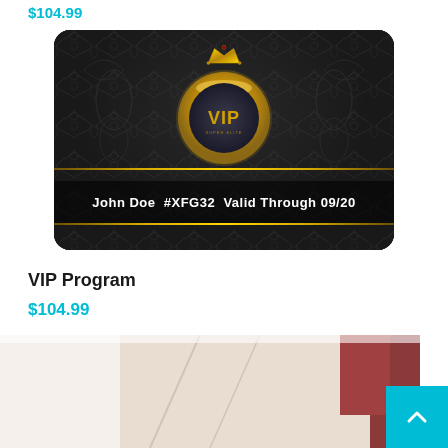$104.99
[Figure (illustration): Black luxury VIP membership card with gold damask pattern, gold VIP ring/circle badge in center with crown on top, and card details reading: John Doe  #XFG32  Valid Through 09/20]
VIP Program
$104.99
[Figure (photo): Partial product image with beige/cream and red tones, cropped at bottom of page]
[Figure (other): Cyan/teal scroll-to-top button with upward chevron arrow in bottom right corner]